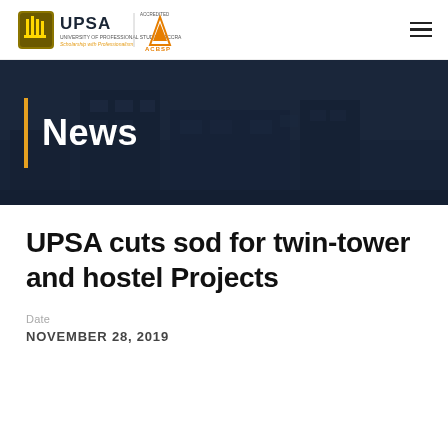[Figure (logo): UPSA (University of Professional Studies, Accra) logo with ACBSP Accredited badge]
News
UPSA cuts sod for twin-tower and hostel Projects
Date
NOVEMBER 28, 2019